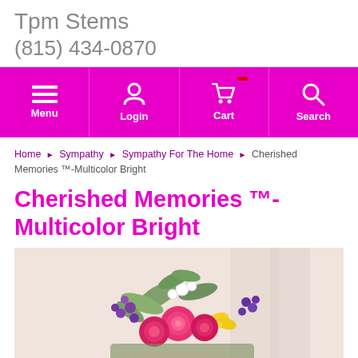Tpm Stems
(815) 434-0870
[Figure (screenshot): Navigation bar with magenta background containing Menu, Login, Cart, and Search icons with labels]
Home › Sympathy › Sympathy For The Home › Cherished Memories ™-Multicolor Bright
Cherished Memories ™- Multicolor Bright
[Figure (photo): Photo of colorful flower arrangement including pink roses, purple flowers, yellow lilies, and greenery against a soft background]